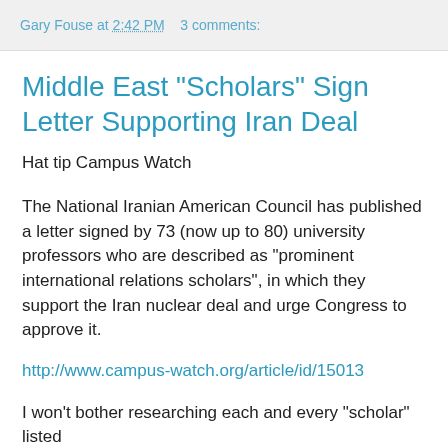Gary Fouse at 2:42 PM   3 comments:
Middle East "Scholars" Sign Letter Supporting Iran Deal
Hat tip Campus Watch
The National Iranian American Council has published a letter signed by 73 (now up to 80) university professors who are described as "prominent international relations scholars", in which they support the Iran nuclear deal and urge Congress to approve it.
http://www.campus-watch.org/article/id/15013
I won't bother researching each and every "scholar" listed